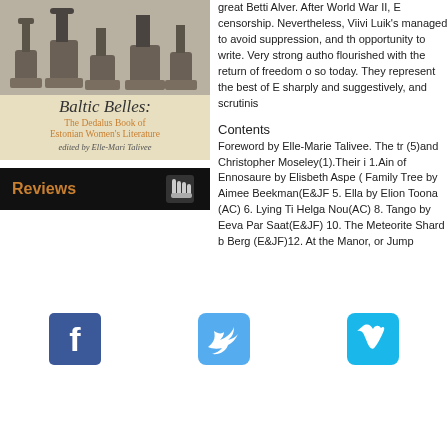[Figure (illustration): Book cover of 'Baltic Belles: The Dedalus Book of Estonian Women's Literature edited by Elle-Mari Talivee' with a vintage black-and-white image of potted cactus plants on top and text below on a cream background.]
[Figure (other): Black button labeled 'Reviews' with a hand/bookmark icon on the right, on a black background with orange text.]
great Betti Alver. After World War II, E censorship. Nevertheless, Viivi Luik's managed to avoid suppression, and th opportunity to write. Very strong autho flourished with the return of freedom o so today. They represent the best of E sharply and suggestively, and scrutinis
Contents
Foreword by Elle-Marie Talivee. The tr (5)and Christopher Moseley(1).Their i 1.Ain of Ennosaure by Elisbeth Aspe ( Family Tree by Aimee Beekman(E&JF 5. Ella by Elion Toona (AC) 6. Lying Ti Helga Nou(AC) 8. Tango by Eeva Par Saat(E&JF) 10. The Meteorite Shard b Berg (E&JF)12. At the Manor, or Jump
[Figure (logo): Facebook logo icon (blue square with white 'f')]
[Figure (logo): Twitter logo icon (light blue square with white bird)]
[Figure (logo): Vimeo logo icon (dark blue rounded square with white 'v' checkmark)]